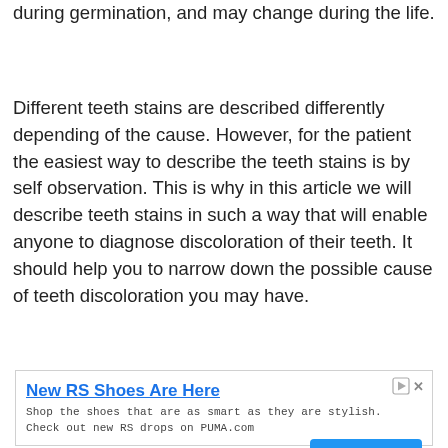during germination, and may change during the life.
Different teeth stains are described differently depending of the cause. However, for the patient the easiest way to describe the teeth stains is by self observation. This is why in this article we will describe teeth stains in such a way that will enable anyone to diagnose discoloration of their teeth. It should help you to narrow down the possible cause of teeth discoloration you may have.
[Figure (other): Advertisement banner for PUMA RS Shoes with title 'New RS Shoes Are Here', body text 'Shop the shoes that are as smart as they are stylish. Check out new RS drops on PUMA.com', brand label 'PUMA', and a blue 'Shop Now' button.]